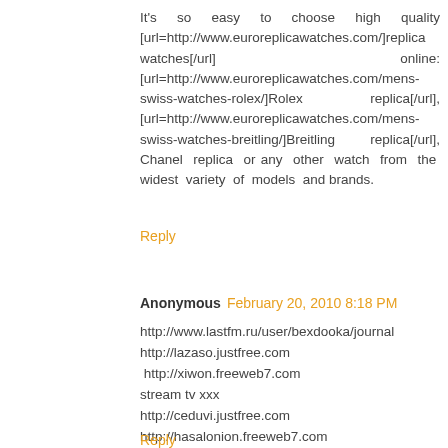It's so easy to choose high quality [url=http://www.euroreplicawatches.com/]replica watches[/url] online: [url=http://www.euroreplicawatches.com/mens-swiss-watches-rolex/]Rolex replica[/url], [url=http://www.euroreplicawatches.com/mens-swiss-watches-breitling/]Breitling replica[/url], Chanel replica or any other watch from the widest variety of models and brands.
Reply
Anonymous  February 20, 2010 8:18 PM
http://www.lastfm.ru/user/bexdooka/journal
http://lazaso.justfree.com http://xiwon.freeweb7.com
stream tv xxx
http://ceduvi.justfree.com     http://hasalonion.freeweb7.com
http://www.pyzam.com/profile/3333033
порно ебля пизда
Download best sex here
Reply